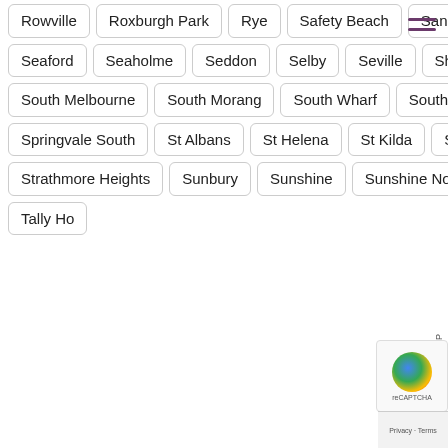Rowville | Roxburgh Park | Rye | Safety Beach | Sandhurst | Sandringham | Sassafras | Scoresby | Seabrook | Seaford | Seaholme | Seddon | Selby | Seville | Sherbrooke | Skye | Somerton | Sorrento | South Kingsville | South Melbourne | South Morang | South Wharf | South Yarra | Southbank | Spotswood | Springvale | Springvale South | St Albans | St Helena | St Kilda | St Kilda East | St Kilda West | Strathmore | Strathmore Heights | Sunbury | Sunshine | Sunshine North | Sunshine West | Surrey Hills | Sydenham | Syndal | Tally Ho